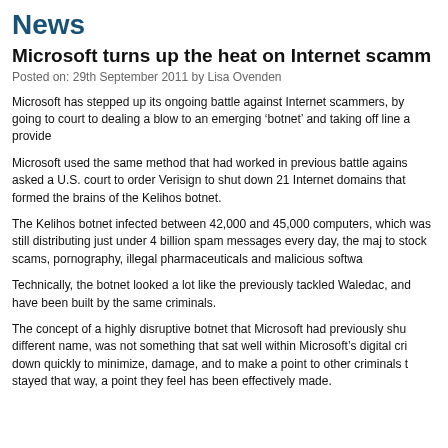News
Microsoft turns up the heat on Internet scammers
Posted on: 29th September 2011  by Lisa Ovenden
Microsoft has stepped up its ongoing battle against Internet scammers, by going to court to dealing a blow to an emerging ‘botnet’ and taking off line a provider.
Microsoft used the same method that had worked in previous battle against botnets, and asked a U.S. court to order Verisign to shut down 21 Internet domains that are believed formed the brains of the Kelihos botnet.
The Kelihos botnet infected between 42,000 and 45,000 computers, which at its peak was still distributing just under 4 billion spam messages every day, the majority relating to stock scams, pornography, illegal pharmaceuticals and malicious software.
Technically, the botnet looked a lot like the previously tackled Waledac, and may well have been built by the same criminals.
The concept of a highly disruptive botnet that Microsoft had previously shut down, under a different name, was not something that sat well within Microsoft's digital crimes unit. It was down quickly to minimize, damage, and to make a point to other criminals that crime doesn't stayed that way, a point they feel has been effectively made.